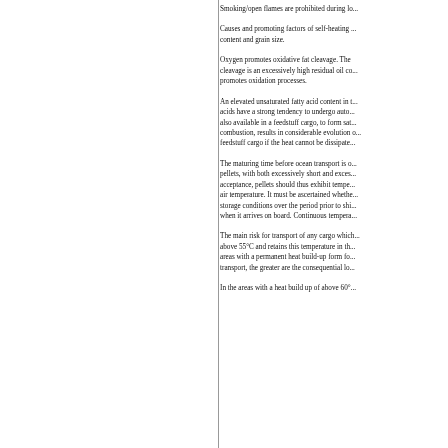Smoking/open flames are prohibited during lo...
Causes and promoting factors of self-heating ...content and grain size.
Oxygen promotes oxidative fat cleavage. The cleavage is an excessively high residual oil co...promotes oxidation processes.
An elevated unsaturated fatty acid content in t...acids have a strong tendency to undergo auto...also available in a feedstuff cargo, to form sat...combustion, results in considerable evolution o...feedstuff cargo if the heat cannot be dissipated...
The maturing time before ocean transport is o...pellets, with both excessively short and excess...acceptance, pellets should thus exhibit tempe...air temperature. It must be ascertained whethe...storage conditions over the period prior to shi...when it arrives on board. Continuous tempera...
The main risk for transport of any cargo which...above 55°C and retains this temperature in th...areas with a permanent heat build-up form fo...transport, the greater are the consequential lo...
In the areas with a heat build up of above 60°...